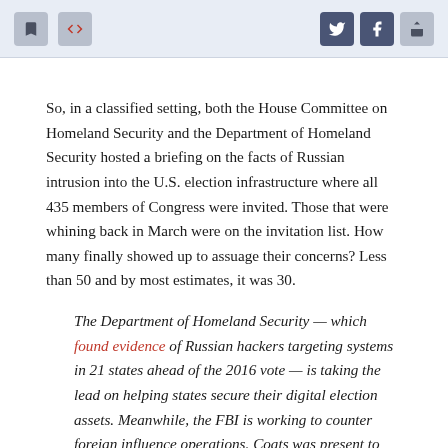[toolbar with bookmark, code, share icons]
So, in a classified setting, both the House Committee on Homeland Security and the Department of Homeland Security hosted a briefing on the facts of Russian intrusion into the U.S. election infrastructure where all 435 members of Congress were invited. Those that were whining back in March were on the invitation list. How many finally showed up to assuage their concerns? Less than 50 and by most estimates, it was 30.
The Department of Homeland Security — which found evidence of Russian hackers targeting systems in 21 states ahead of the 2016 vote — is taking the lead on helping states secure their digital election assets. Meanwhile, the FBI is working to counter foreign influence operations. Coats was present to provide lawmakers with an overall threat picture.
"Meanwhile, ...